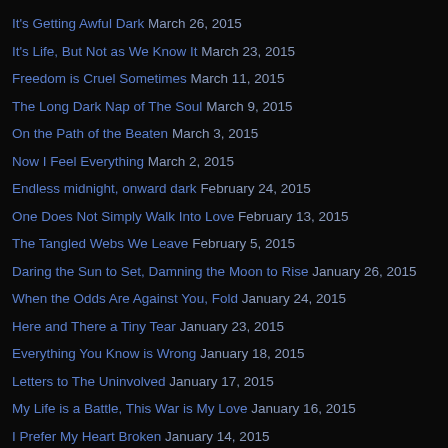It's Getting Awful Dark March 26, 2015
It's Life, But Not as We Know It March 23, 2015
Freedom is Cruel Sometimes March 11, 2015
The Long Dark Nap of The Soul March 9, 2015
On the Path of the Beaten March 3, 2015
Now I Feel Everything March 2, 2015
Endless midnight, onward dark February 24, 2015
One Does Not Simply Walk Into Love February 13, 2015
The Tangled Webs We Leave February 5, 2015
Daring the Sun to Set, Damning the Moon to Rise January 26, 2015
When the Odds Are Against You, Fold January 24, 2015
Here and There a Tiny Tear January 23, 2015
Everything You Know is Wrong January 18, 2015
Letters to The Uninvolved January 17, 2015
My Life is a Battle, This War is My Love January 16, 2015
I Prefer My Heart Broken January 14, 2015
It's Never What You Think It Is January 12, 2015